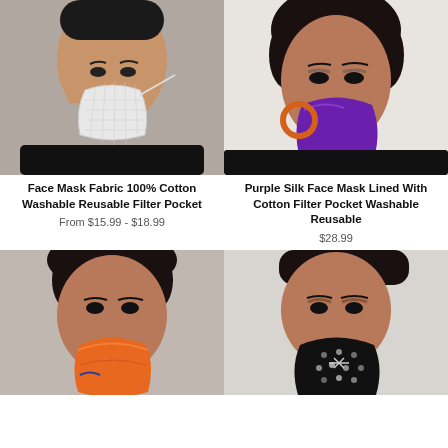[Figure (photo): Woman wearing a white grid-pattern fabric face mask, side profile]
[Figure (photo): Woman wearing a purple silk face mask with orange hoop earrings]
Face Mask Fabric 100% Cotton Washable Reusable Filter Pocket
Purple Silk Face Mask Lined With Cotton Filter Pocket Washable Reusable
From $15.99 - $18.99
$28.99
[Figure (photo): Woman wearing a colorful orange face mask]
[Figure (photo): Woman wearing a black sequin face mask]